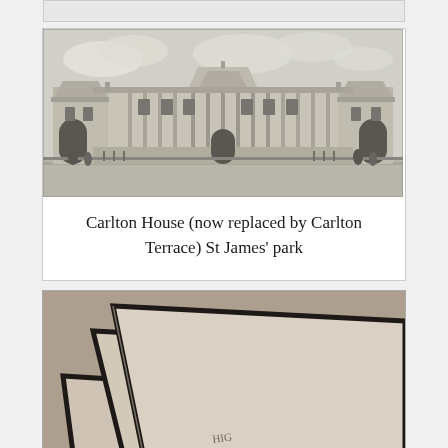[Figure (photo): Partial top of a white card, cut off at top of page]
[Figure (illustration): Black and white architectural drawing/engraving of Carlton House, a large neoclassical building with columns, porticos, and symmetrical wings]
Carlton House (now replaced by Carlton Terrace) St James' park
[Figure (photo): Close-up photograph of cream/beige paper or card with black borders, stacked at angles, with partial text visible reading 'HIG' at bottom, warm sepia-toned photograph]